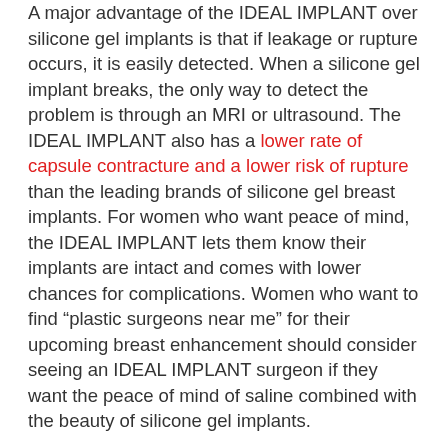A major advantage of the IDEAL IMPLANT over silicone gel implants is that if leakage or rupture occurs, it is easily detected. When a silicone gel implant breaks, the only way to detect the problem is through an MRI or ultrasound. The IDEAL IMPLANT also has a lower rate of capsule contracture and a lower risk of rupture than the leading brands of silicone gel breast implants. For women who want peace of mind, the IDEAL IMPLANT lets them know their implants are intact and comes with lower chances for complications. Women who want to find “plastic surgeons near me” for their upcoming breast enhancement should consider seeing an IDEAL IMPLANT surgeon if they want the peace of mind of saline combined with the beauty of silicone gel implants.
Explore Your Breast